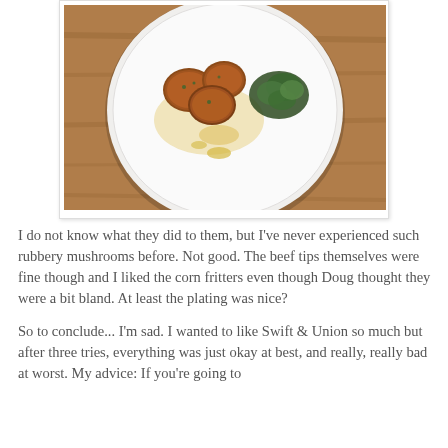[Figure (photo): Overhead photo of a white plate with fried food items (corn fritters/beef tips) and green salad garnish, placed on a wooden table surface.]
I do not know what they did to them, but I've never experienced such rubbery mushrooms before. Not good. The beef tips themselves were fine though and I liked the corn fritters even though Doug thought they were a bit bland. At least the plating was nice?
So to conclude... I'm sad. I wanted to like Swift & Union so much but after three tries, everything was just okay at best, and really, really bad at worst. My advice: If you're going to